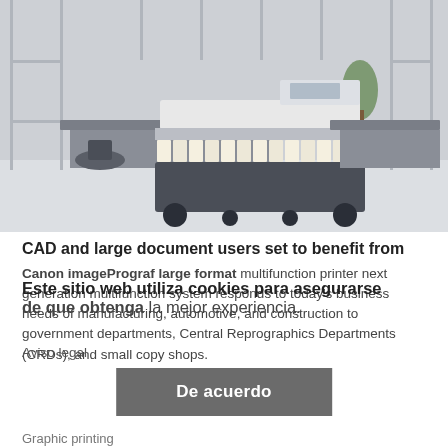[Figure (photo): Large format multifunction printer/plotter in an open office/studio environment with windows, desks, and chairs in the background. The printer is white and silver with multiple paper rolls visible.]
CAD and large document users set to benefit from
Canon imagePrograf large format multifunction printer next generation multifunction system responds to today's business needs of manufacturing, automotive, and construction to government departments, Central Reprographics Departments (CRDs), and small copy shops.
Este sitio web utiliza cookies para asegurarse de que obtenga la mejor experiencia.
Aviso legal
De acuerdo
Graphic printing